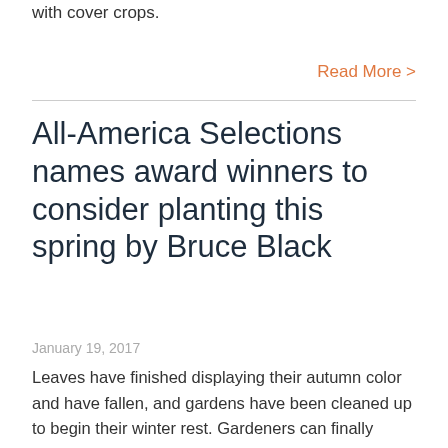with cover crops.
Read More >
All-America Selections names award winners to consider planting this spring by Bruce Black
January 19, 2017
Leaves have finished displaying their autumn color and have fallen, and gardens have been cleaned up to begin their winter rest. Gardeners can finally enjoy a well-deserved break, but it may not be long before the anticipation of spring creeps in.
"There is no quicker way to beat those winter